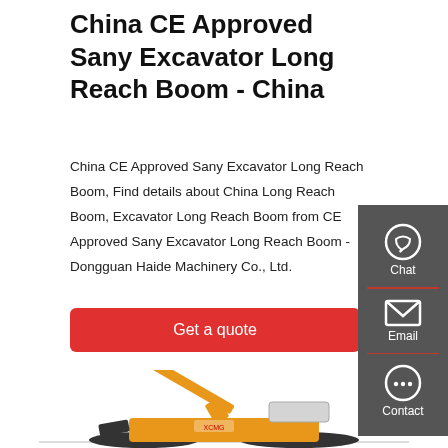China CE Approved Sany Excavator Long Reach Boom - China
China CE Approved Sany Excavator Long Reach Boom, Find details about China Long Reach Boom, Excavator Long Reach Boom from CE Approved Sany Excavator Long Reach Boom - Dongguan Haide Machinery Co., Ltd.
Get a quote
[Figure (screenshot): Dark grey sidebar with Chat, Email, and Contact icons]
[Figure (photo): Yellow XCMG excavator with long reach boom arm, partial view from mid-page down]